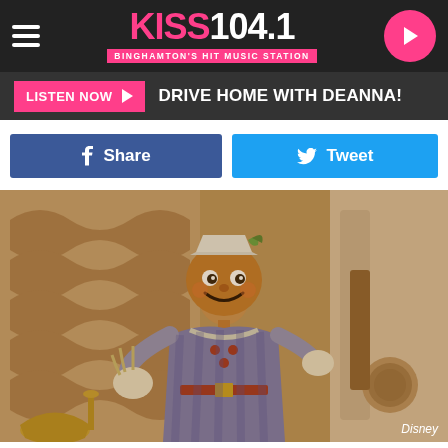KISS 104.1 - Binghamton's Hit Music Station
LISTEN NOW ▶  DRIVE HOME WITH DEANNA!
f  Share
Tweet
[Figure (photo): Sepia-toned vintage photo of a scarecrow character in costume with a round face, pointed hat, holding straw, standing in an ornate setting. Disney.]
Disney